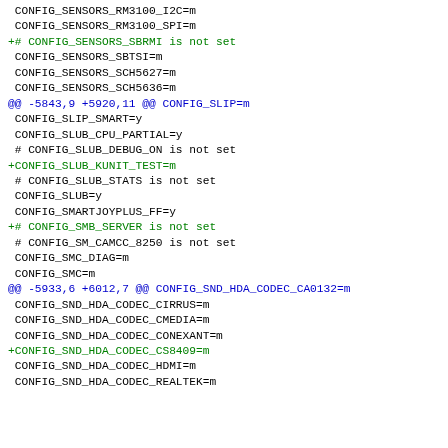CONFIG_SENSORS_RM3100_I2C=m
 CONFIG_SENSORS_RM3100_SPI=m
+# CONFIG_SENSORS_SBRMI is not set
 CONFIG_SENSORS_SBTSI=m
 CONFIG_SENSORS_SCH5627=m
 CONFIG_SENSORS_SCH5636=m
@@ -5843,9 +5920,11 @@ CONFIG_SLIP=m
 CONFIG_SLIP_SMART=y
 CONFIG_SLUB_CPU_PARTIAL=y
 # CONFIG_SLUB_DEBUG_ON is not set
+CONFIG_SLUB_KUNIT_TEST=m
 # CONFIG_SLUB_STATS is not set
 CONFIG_SLUB=y
 CONFIG_SMARTJOYPLUS_FF=y
+# CONFIG_SMB_SERVER is not set
 # CONFIG_SM_CAMCC_8250 is not set
 CONFIG_SMC_DIAG=m
 CONFIG_SMC=m
@@ -5933,6 +6012,7 @@ CONFIG_SND_HDA_CODEC_CA0132=m
 CONFIG_SND_HDA_CODEC_CIRRUS=m
 CONFIG_SND_HDA_CODEC_CMEDIA=m
 CONFIG_SND_HDA_CODEC_CONEXANT=m
+CONFIG_SND_HDA_CODEC_CS8409=m
 CONFIG_SND_HDA_CODEC_HDMI=m
 CONFIG_SND_HDA_CODEC_REALTEK=m